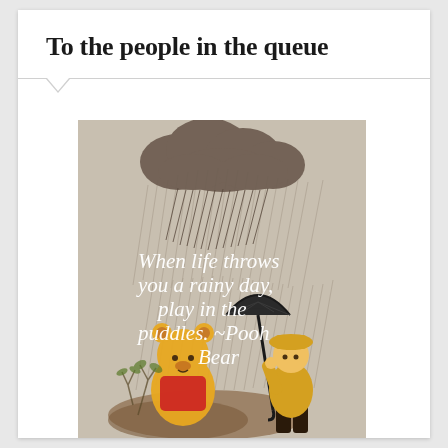To the people in the queue
[Figure (illustration): Winnie the Pooh illustration with text overlay. A dark rain cloud at the top with rain falling. A small figure in a yellow raincoat holds an umbrella over Winnie the Pooh. White text overlay reads: 'When life throws you a rainy day, play in the puddles. ~Pooh Bear']